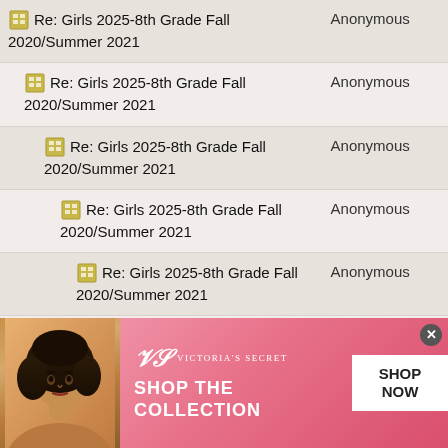| Subject | Author |
| --- | --- |
| Re: Girls 2025-8th Grade Fall 2020/Summer 2021 | Anonymous |
| Re: Girls 2025-8th Grade Fall 2020/Summer 2021 | Anonymous |
| Re: Girls 2025-8th Grade Fall 2020/Summer 2021 | Anonymous |
| Re: Girls 2025-8th Grade Fall 2020/Summer 2021 | Anonymous |
| Re: Girls 2025-8th Grade Fall 2020/Summer 2021 | Anonymous |
| Re: Girls 2025-8th Grade Fall 2020/Summer 2021 | Anonymous |
| Re: Girls 2025-8th Grade Fall 2020/Summer 2021 | Anonymous |
| Re: Girls 2025-8th Grade Fall 2020/Summer 2021 | Anonymous |
[Figure (screenshot): Victoria's Secret advertisement banner with model photo, logo, 'SHOP THE COLLECTION' text, and 'SHOP NOW' button]